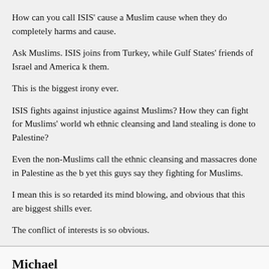How can you call ISIS' cause a Muslim cause when they do completely harms and cause.
Ask Muslims. ISIS joins from Turkey, while Gulf States' friends of Israel and America k them.
This is the biggest irony ever.
ISIS fights against injustice against Muslims? How they can fight for Muslims' world wh ethnic cleansing and land stealing is done to Palestine?
Even the non-Muslims call the ethnic cleansing and massacres done in Palestine as the b yet this guys say they fighting for Muslims.
I mean this is so retarded its mind blowing, and obvious that this are biggest shills ever.
The conflict of interests is so obvious.
Michael
November 16, 2015 @ 5:04 pm
The attacks in Paris went down too precise for the war machine.
This should spell inside job.
If this was a real attack by angry, radical Muslims with no life ahead of them, we wouldn
Real terrorism doesn't get covered in the front pages of the newspapers.